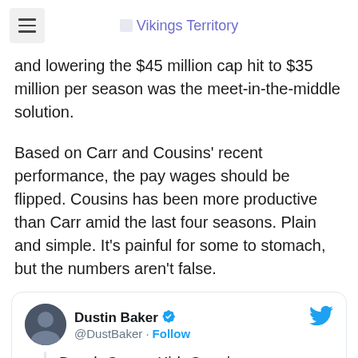Vikings Territory
and lowering the $45 million cap hit to $35 million per season was the meet-in-the-middle solution.
Based on Carr and Cousins' recent performance, the pay wages should be flipped. Cousins has been more productive than Carr amid the last four seasons. Plain and simple. It's painful for some to stomach, but the numbers aren't false.
[Figure (screenshot): Embedded tweet from @DustBaker (Dustin Baker, verified) with text: Derek Carr v. Kirk Cousins, Since 2018:]